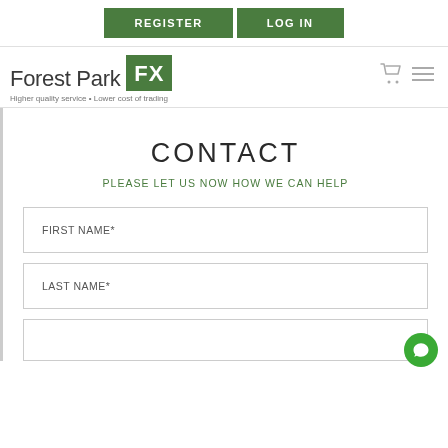REGISTER | LOG IN
[Figure (logo): Forest Park FX logo with green square background for FX text, tagline: Higher quality service • Lower cost of trading]
CONTACT
PLEASE LET US NOW HOW WE CAN HELP
FIRST NAME*
LAST NAME*